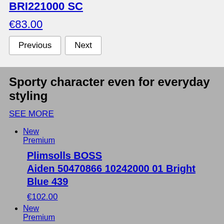BRI221000 SC
€83.00
Previous | Next
Sporty character even for everyday styling
SEE MORE
New
Premium
Plimsolls BOSS Aiden 50470866 10242000 01 Bright Blue 439
€102.00
New
Premium
Plimsolls HUGO Dyer 50470193 10242000 01 Red 610